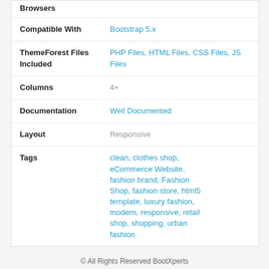Browsers
| Field | Value |
| --- | --- |
| Compatible With | Bootstrap 5.x |
| ThemeForest Files Included | PHP Files, HTML Files, CSS Files, JS Files |
| Columns | 4+ |
| Documentation | Well Documented |
| Layout | Responsive |
| Tags | clean, clothes shop, eCommerce Website, fashion brand, Fashion Shop, fashion store, html5 template, luxury fashion, modern, responsive, retail shop, shopping, urban fashion |
© All Rights Reserved BootXperts